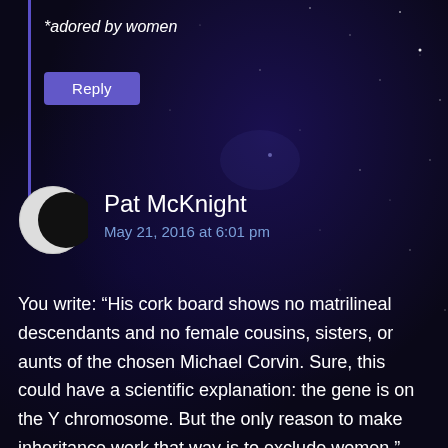*adored by women
Reply
Pat McKnight
May 21, 2016 at 6:01 pm
You write: “His cork board shows no matrilineal descendants and no female cousins, sisters, or aunts of the chosen Michael Corvin. Sure, this could have a scientific explanation: the gene is on the Y chromosome. But the only reason to make inheritance work that way is to exclude women.” Actually, the Y chromosome is structurally an X